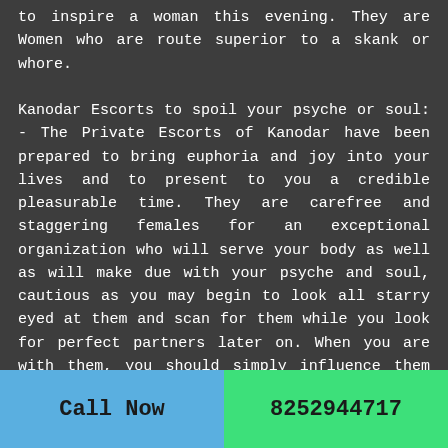to inspire a woman this evening. They are Women who are route superior to a skank or whore.

Kanodar Escorts to spoil your psyche or soul: - The Private Escorts of Kanodar have been prepared to bring euphoria and joy into your lives and to present to you a credible pleasurable time. They are carefree and staggering females for an exceptional organization who will serve your body as well as will make due with your psyche and soul, cautious as you may begin to look all starry eyed at them and scan for them while you look for perfect partners later on. When you are with them, you should simply influence them to feel needed and after that kick back and see them do everything for influencing you to feel fulfilled. We offer a wide assortment of models, for example, Brunette,
Call Now
8252944717